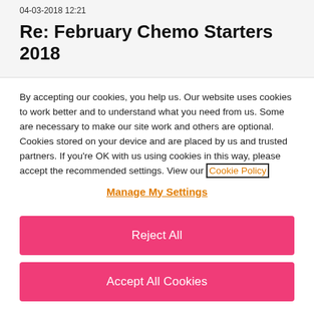04-03-2018 12:21
Re: February Chemo Starters 2018
By accepting our cookies, you help us. Our website uses cookies to work better and to understand what you need from us. Some are necessary to make our site work and others are optional. Cookies stored on your device and are placed by us and trusted partners. If you're OK with us using cookies in this way, please accept the recommended settings. View our Cookie Policy
Manage My Settings
Reject All
Accept All Cookies